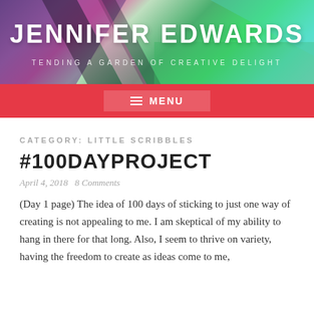[Figure (illustration): Colorful abstract painted header banner with purples, pinks, greens and teals — artistic blog header background]
JENNIFER EDWARDS
TENDING A GARDEN OF CREATIVE DELIGHT
≡ MENU
CATEGORY: LITTLE SCRIBBLES
#100DAYPROJECT
April 4, 2018   8 Comments
(Day 1 page) The idea of 100 days of sticking to just one way of creating is not appealing to me. I am skeptical of my ability to hang in there for that long. Also, I seem to thrive on variety, having the freedom to create as ideas come to me,